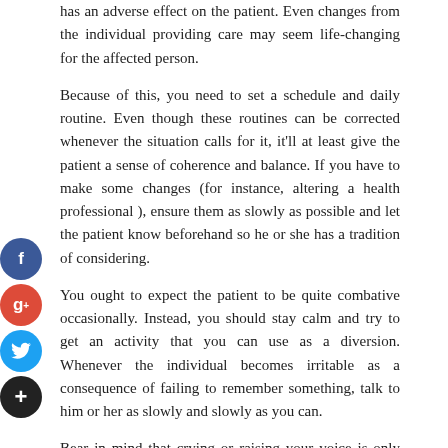has an adverse effect on the patient. Even changes from the individual providing care may seem life-changing for the affected person.
Because of this, you need to set a schedule and daily routine. Even though these routines can be corrected whenever the situation calls for it, it'll at least give the patient a sense of coherence and balance. If you have to make some changes (for instance, altering a health professional ), ensure them as slowly as possible and let the patient know beforehand so he or she has a tradition of considering.
You ought to expect the patient to be quite combative occasionally. Instead, you should stay calm and try to get an activity that you can use as a diversion. Whenever the individual becomes irritable as a consequence of failing to remember something, talk to him or her as slowly and slowly as you can.
Bear in mind that crying or raising your voice is only going to excite the patient even more. Dementia home care calls for a